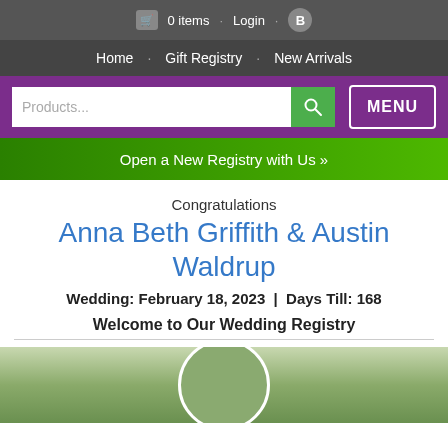0 items · Login · B
Home · Gift Registry · New Arrivals
Products... [search] MENU
Open a New Registry with Us »
Congratulations
Anna Beth Griffith & Austin Waldrup
Wedding: February 18, 2023 | Days Till: 168
Welcome to Our Wedding Registry
[Figure (photo): Couple photo outdoors with green foliage background, partially visible at bottom of page]